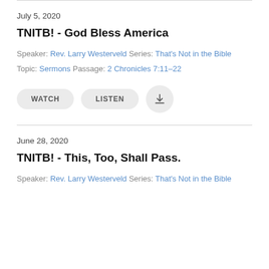July 5, 2020
TNITB! - God Bless America
Speaker: Rev. Larry Westerveld Series: That's Not in the Bible
Topic: Sermons Passage: 2 Chronicles 7:11–22
June 28, 2020
TNITB! - This, Too, Shall Pass.
Speaker: Rev. Larry Westerveld Series: That's Not in the Bible